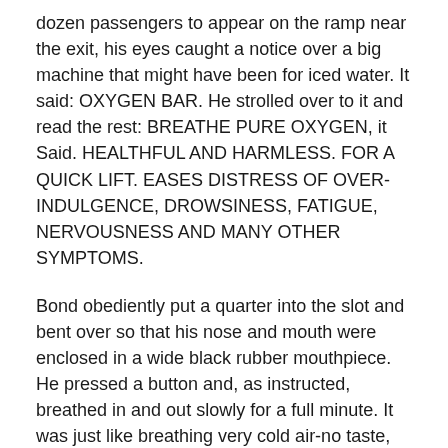dozen passengers to appear on the ramp near the exit, his eyes caught a notice over a big machine that might have been for iced water. It said: OXYGEN BAR. He strolled over to it and read the rest: BREATHE PURE OXYGEN, it Said. HEALTHFUL AND HARMLESS. FOR A QUICK LIFT. EASES DISTRESS OF OVER-INDULGENCE, DROWSINESS, FATIGUE, NERVOUSNESS AND MANY OTHER SYMPTOMS.
Bond obediently put a quarter into the slot and bent over so that his nose and mouth were enclosed in a wide black rubber mouthpiece. He pressed a button and, as instructed, breathed in and out slowly for a full minute. It was just like breathing very cold air-no taste, no smell. At the end of the minute there was a click from the machine and Bond straightened himself. He felt nothing but a slight dizziness, but later he recognized that there had been carelessness in the ironical grin he gave to a man with a leather shaving kit under his arm who had been standing